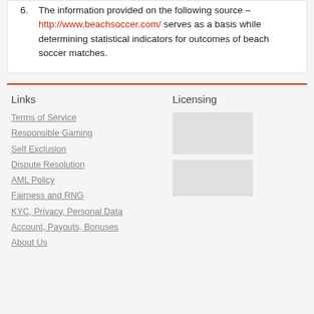6. The information provided on the following source – http://www.beachsoccer.com/ serves as a basis while determining statistical indicators for outcomes of beach soccer matches.
Links
Licensing
Terms of Service
Responsible Gaming
Self Exclusion
Dispute Resolution
AML Policy
Fairness and RNG
KYC, Privacy, Personal Data
Account, Payouts, Bonuses
About Us